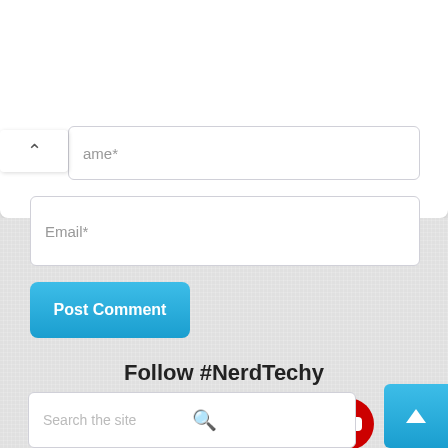[Figure (screenshot): Partial name input field showing 'ame*' placeholder text, cut off at left edge]
[Figure (screenshot): Email input field with placeholder text 'Email*']
[Figure (screenshot): Blue 'Post Comment' button]
Follow #NerdTechy
[Figure (infographic): Row of 5 social media icons: Twitter (blue), Facebook (dark blue), Pinterest (red), Instagram (tan/beige), YouTube (red)]
[Figure (screenshot): Search bar with placeholder 'Search the site' and magnifying glass icon]
[Figure (screenshot): Blue scroll-to-top button with upward caret arrow, bottom right corner]